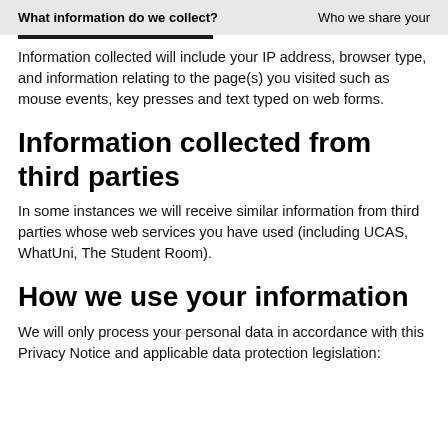What information do we collect?   Who we share your
Information collected will include your IP address, browser type, and information relating to the page(s) you visited such as mouse events, key presses and text typed on web forms.
Information collected from third parties
In some instances we will receive similar information from third parties whose web services you have used (including UCAS, WhatUni, The Student Room).
How we use your information
We will only process your personal data in accordance with this Privacy Notice and applicable data protection legislation: